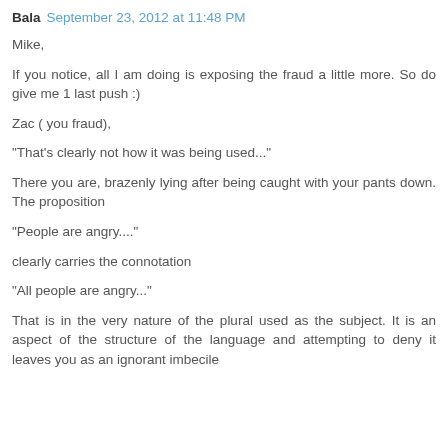Bala  September 23, 2012 at 11:48 PM
Mike,
If you notice, all I am doing is exposing the fraud a little more. So do give me 1 last push :)
Zac ( you fraud),
"That's clearly not how it was being used..."
There you are, brazenly lying after being caught with your pants down. The proposition
"People are angry...."
clearly carries the connotation
"All people are angry..."
That is in the very nature of the plural used as the subject. It is an aspect of the structure of the language and attempting to deny it leaves you as an ignorant imbecile